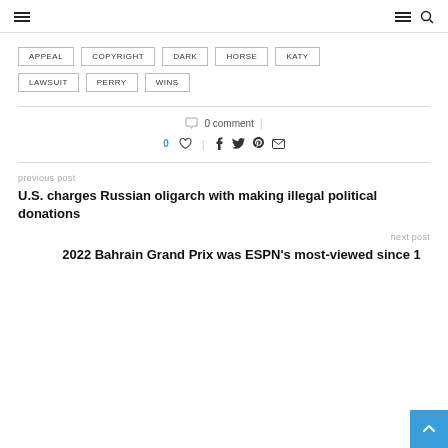≡  ≡ 🔍
APPEAL
COPYRIGHT
DARK
HORSE
KATY
LAWSUIT
PERRY
WINS
0 comment
0 ♡  |  f  𝕏  𝓟  ✉
previous post
U.S. charges Russian oligarch with making illegal political donations
next post
2022 Bahrain Grand Prix was ESPN's most-viewed since 1...